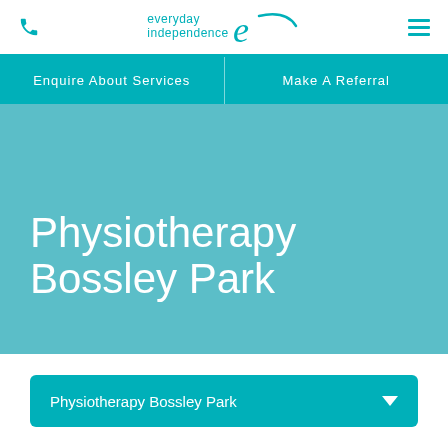[Figure (logo): Everyday Independence logo with teal script 'e' and phone/hamburger icons in top navigation bar]
Enquire About Services   Make A Referral
Physiotherapy Bossley Park
Physiotherapy Bossley Park